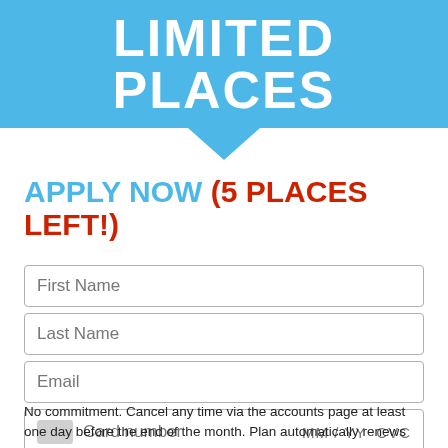LIMITED PLACES
APPLY NOW (5 PLACES LEFT!)
[Figure (other): Application form with fields: First Name, Last Name, Email, Card number with MM/YY CVC]
No commitment. Cancel any time via the accounts page at least one day before the end of the month. Plan automatically renews